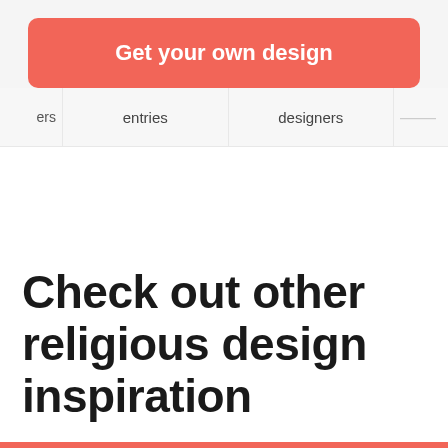[Figure (screenshot): Red/coral call-to-action button labeled 'Get your own design' on a light gray background]
ers    entries    designers
Check out other religious design inspiration